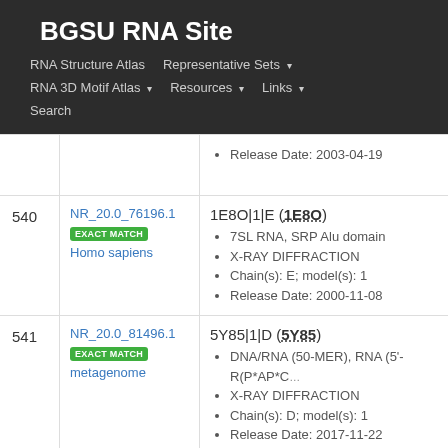BGSU RNA Site
RNA Structure Atlas
Representative Sets
RNA 3D Motif Atlas
Resources
Links
Search
| # | ID | Info |
| --- | --- | --- |
|  |  | Release Date: 2003-04-19 |
| 540 | NR_20.0_76196.1
EXACT MATCH
Homo sapiens | 1E8O|1|E (1E8O)
7SL RNA, SRP Alu domain
X-RAY DIFFRACTION
Chain(s): E; model(s): 1
Release Date: 2000-11-08 |
| 541 | NR_20.0_81496.1
EXACT MATCH
metagenome | 5Y85|1|D (5Y85)
DNA/RNA (50-MER), RNA (5'-R(P*AP*C...
X-RAY DIFFRACTION
Chain(s): D; model(s): 1
Release Date: 2017-11-22 |
| 542 | NR_20.0_00810.1 | 4C7O|1|E (4C7O) |